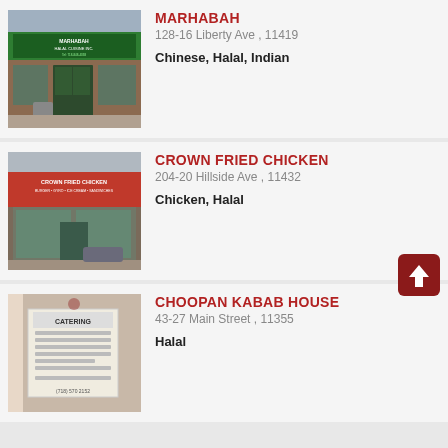[Figure (photo): Exterior photo of Marhabah Halal Cuisine Inc. restaurant storefront with green awning and phone number]
MARHABAH
128-16 Liberty Ave , 11419
Chinese, Halal, Indian
[Figure (photo): Exterior photo of Crown Fried Chicken restaurant with red awning showing Burger, Gyro, Ice Cream, Sandwiches]
CROWN FRIED CHICKEN
204-20 Hillside Ave , 11432
Chicken, Halal
[Figure (photo): Interior/exterior photo of Choopan Kabab House showing a Catering sign]
CHOOPAN KABAB HOUSE
43-27 Main Street , 11355
Halal